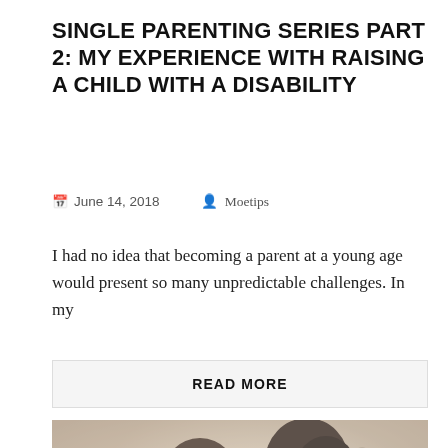SINGLE PARENTING SERIES PART 2: MY EXPERIENCE WITH RAISING A CHILD WITH A DISABILITY
June 14, 2018   Moetips
I had no idea that becoming a parent at a young age would present so many unpredictable challenges. In my
READ MORE
[Figure (photo): A young child and a woman (mother) kissing, photographed in an outdoor setting with blurred background of people and buildings.]